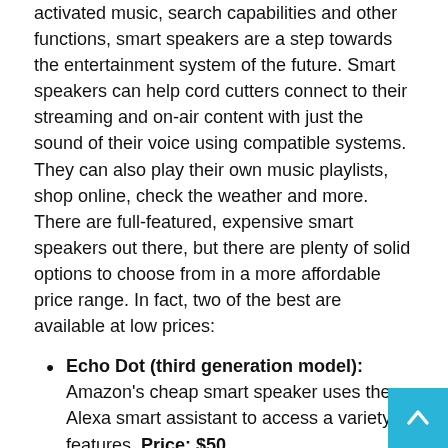activated music, search capabilities and other functions, smart speakers are a step towards the entertainment system of the future. Smart speakers can help cord cutters connect to their streaming and on-air content with just the sound of their voice using compatible systems. They can also play their own music playlists, shop online, check the weather and more. There are full-featured, expensive smart speakers out there, but there are plenty of solid options to choose from in a more affordable price range. In fact, two of the best are available at low prices:
Echo Dot (third generation model): Amazon's cheap smart speaker uses the Alexa smart assistant to access a variety of features. Price: $50
Google Home Mini: This little speaker is powered by the intelligence of the handy Google Assistant. Price: $50
Digital antennas
The best alternative to paying too much for TV is to pay nothing